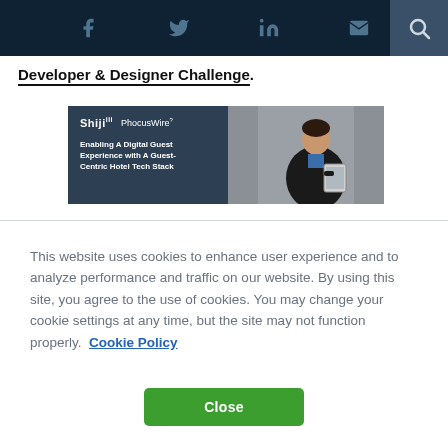Social icons navigation bar with Facebook, Twitter, LinkedIn, Email, and Search
Developer & Designer Challenge.
[Figure (photo): Composite image: left panel shows Shiji and PhocusWire logos with text 'Enabling A Digital Guest Experience with A Guest-Centric Hotel Tech Stack' on dark background; right panel shows a man in a suit looking at a tablet device.]
This website uses cookies to enhance user experience and to analyze performance and traffic on our website. By using this site, you agree to the use of cookies. You may change your cookie settings at any time, but the site may not function properly.  Cookie Policy
Close